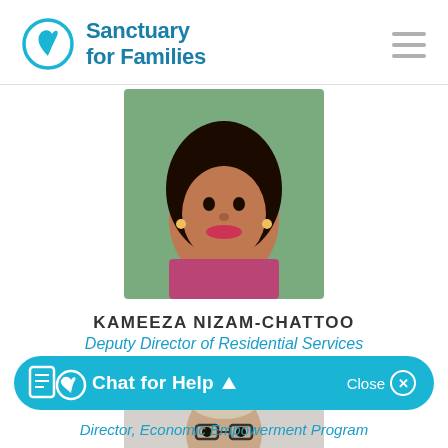Sanctuary for Families
[Figure (photo): Portrait photo of Kameeza Nizam-Chattoo, a smiling woman with long dark hair, outdoors with green foliage in background]
KAMEEZA NIZAM-CHATTOO
Deputy Director of Residential Services
[Figure (photo): Portrait photo of a man with glasses wearing a dark blazer, against a light gray background]
Chat for Help
Director, Economic Empowerment Program